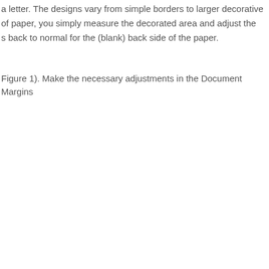a letter. The designs vary from simple borders to larger decorative of paper, you simply measure the decorated area and adjust the s back to normal for the (blank) back side of the paper.
Figure 1). Make the necessary adjustments in the Document Margins